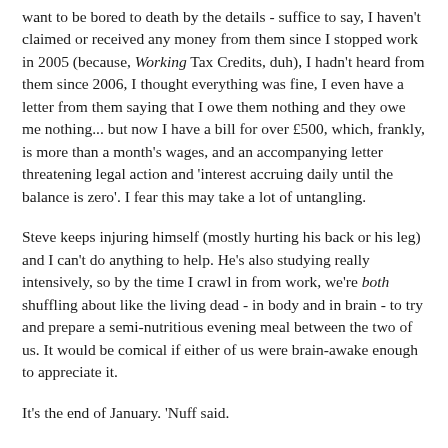want to be bored to death by the details - suffice to say, I haven't claimed or received any money from them since I stopped work in 2005 (because, Working Tax Credits, duh), I hadn't heard from them since 2006, I thought everything was fine, I even have a letter from them saying that I owe them nothing and they owe me nothing... but now I have a bill for over £500, which, frankly, is more than a month's wages, and an accompanying letter threatening legal action and 'interest accruing daily until the balance is zero'. I fear this may take a lot of untangling.
Steve keeps injuring himself (mostly hurting his back or his leg) and I can't do anything to help. He's also studying really intensively, so by the time I crawl in from work, we're both shuffling about like the living dead - in body and in brain - to try and prepare a semi-nutritious evening meal between the two of us. It would be comical if either of us were brain-awake enough to appreciate it.
It's the end of January. 'Nuff said.
Even my yarny is causing problems - I started turning the